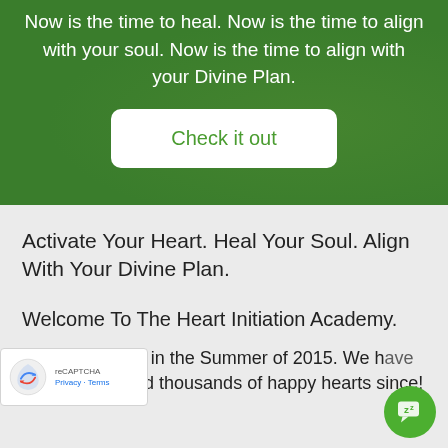Now is the time to heal. Now is the time to align with your soul. Now is the time to align with your Divine Plan.
[Figure (other): White rounded rectangle button with green text reading 'Check it out']
Activate Your Heart. Heal Your Soul. Align With Your Divine Plan.
Welcome To The Heart Initiation Academy.
Founded with ♥ in the Summer of 2015. We have gratefully served thousands of happy hearts since!